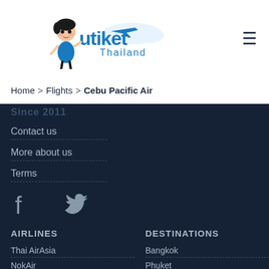[Figure (logo): Utiket Thailand logo with cartoon girl mascot and cloud/plane icon]
Home > Flights > Cebu Pacific Air
Since 2011
Contact us
More about us
Terms
[Figure (illustration): Facebook and Twitter social media icons]
AIRLINES
DESTINATIONS
Thai AirAsia
Bangkok
NokAir
Phuket
Bangkok Air
Chiang Mai